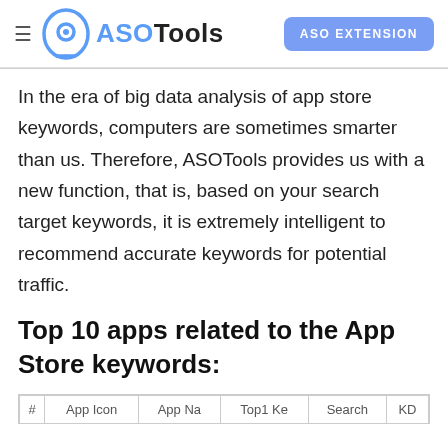ASOTools | ASO EXTENSION
In the era of big data analysis of app store keywords, computers are sometimes smarter than us. Therefore, ASOTools provides us with a new function, that is, based on your search target keywords, it is extremely intelligent to recommend accurate keywords for potential traffic.
Top 10 apps related to the App Store keywords:
| # | App Icon | App Na | Top1 Ke | Search | KD |
| --- | --- | --- | --- | --- | --- |